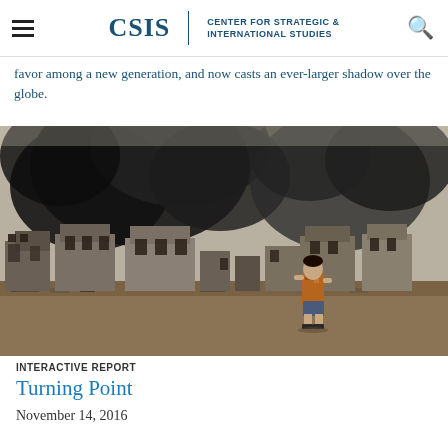CSIS | CENTER FOR STRATEGIC & INTERNATIONAL STUDIES
favor among a new generation, and now casts an ever-larger shadow over the globe.
[Figure (photo): A young child standing in a war-torn landscape with destroyed buildings and large black smoke clouds rising in the background.]
INTERACTIVE REPORT
Turning Point
November 14, 2016